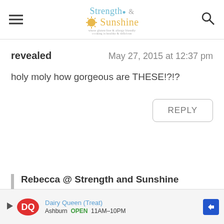Strength & Sunshine — where gluten-free & allergy friendly cooking is healthy & delicious
revealed
May 27, 2015 at 12:37 pm
holy moly how gorgeous are THESE!?!?
REPLY
Rebecca @ Strength and Sunshine
May 27, 2015 at 2:35 pm
[Figure (screenshot): Dairy Queen (Treat) ad banner with DQ logo, Ashburn OPEN 11AM-10PM, and navigation arrow]